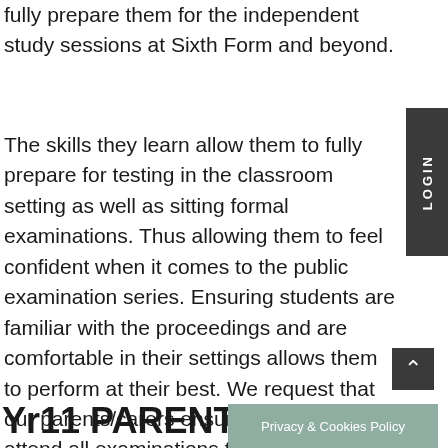fully prepare them for the independent study sessions at Sixth Form and beyond.
The skills they learn allow them to fully prepare for testing in the classroom setting as well as sitting formal examinations. Thus allowing them to feel confident when it comes to the public examination series. Ensuring students are familiar with the proceedings and are comfortable in their settings allows them to perform at their best. We request that our parents/carers ensure their children attend all examinations to give them the best possible chance at success. Please note that for public examinations, only a doctor's letter will suffice for absence. Please see the JCQ regulations.
Yr11 PARENTAL
Privacy & Cookies Policy